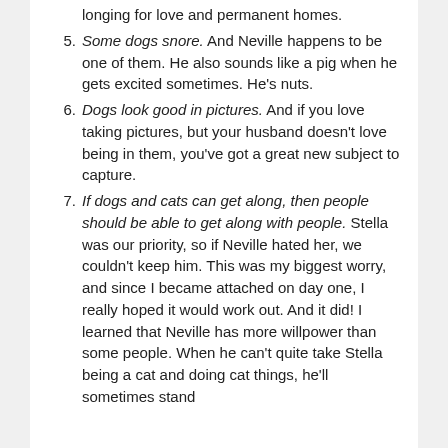longing for love and permanent homes.
Some dogs snore. And Neville happens to be one of them. He also sounds like a pig when he gets excited sometimes. He's nuts.
Dogs look good in pictures. And if you love taking pictures, but your husband doesn't love being in them, you've got a great new subject to capture.
If dogs and cats can get along, then people should be able to get along with people. Stella was our priority, so if Neville hated her, we couldn't keep him. This was my biggest worry, and since I became attached on day one, I really hoped it would work out. And it did! I learned that Neville has more willpower than some people. When he can't quite take Stella being a cat and doing cat things, he'll sometimes stand